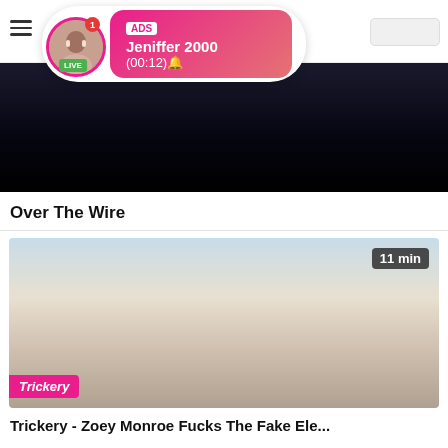[Figure (screenshot): Mobile website header with hamburger menu, search box, and an ADS notification popup showing a live avatar with name Jeniffer 2000 and timer (00:12)]
[Figure (photo): Dark video thumbnail for Over The Wire video]
Over The Wire
[Figure (photo): Video thumbnail for Trickery - Zoey Monroe Fucks The Fake Ele... showing a woman on phone in a bright kitchen, with 11 min duration badge and Trickery brand badge]
Trickery - Zoey Monroe Fucks The Fake Ele...